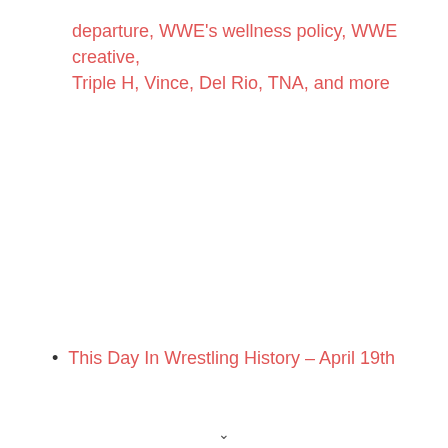departure, WWE's wellness policy, WWE creative, Triple H, Vince, Del Rio, TNA, and more
This Day In Wrestling History – April 19th